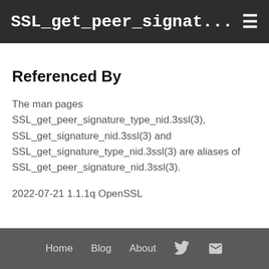SSL_get_peer_signat... ☰
Referenced By
The man pages SSL_get_peer_signature_type_nid.3ssl(3), SSL_get_signature_nid.3ssl(3) and SSL_get_signature_type_nid.3ssl(3) are aliases of SSL_get_peer_signature_nid.3ssl(3).
2022-07-21 1.1.1q OpenSSL
Home  Blog  About  [Twitter] [Email]